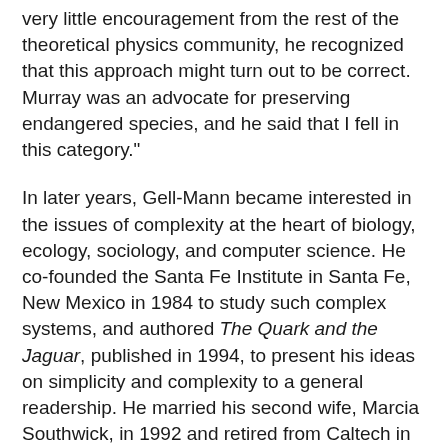very little encouragement from the rest of the theoretical physics community, he recognized that this approach might turn out to be correct. Murray was an advocate for preserving endangered species, and he said that I fell in this category."
In later years, Gell-Mann became interested in the issues of complexity at the heart of biology, ecology, sociology, and computer science. He co-founded the Santa Fe Institute in Santa Fe, New Mexico in 1984 to study such complex systems, and authored The Quark and the Jaguar, published in 1994, to present his ideas on simplicity and complexity to a general readership. He married his second wife, Marcia Southwick, in 1992 and retired from Caltech in 1993.
Ooguri recalls Gell-Mann returning to Caltech's campus in 2013 for a symposium marking the 50th anniversary of his quark model. "He was a warm person, and curious